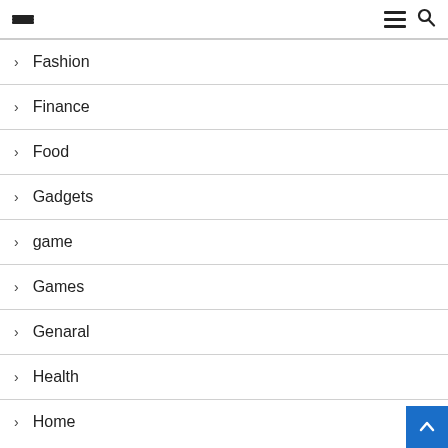Navigation menu header with hamburger icons and search icon
Fashion
Finance
Food
Gadgets
game
Games
Genaral
Health
Home